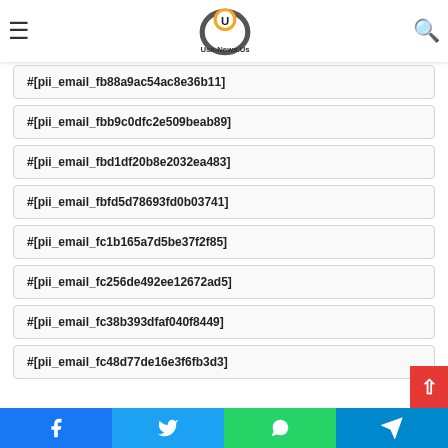Usa-News.Us
#[pii_email_fb863162b0a877a]
#[pii_email_fb6d66a574a514a0]
#[pii_email_fb88a9ac54ac8e36b11]
#[pii_email_fbb9c0dfc2e509beab89]
#[pii_email_fbd1df20b8e2032ea483]
#[pii_email_fbfd5d78693fd0b03741]
#[pii_email_fc1b165a7d5be37f2f85]
#[pii_email_fc256de492ee12672ad5]
#[pii_email_fc38b393dfaf040f8449]
#[pii_email_fc48d77de16e3f6fb3d3]